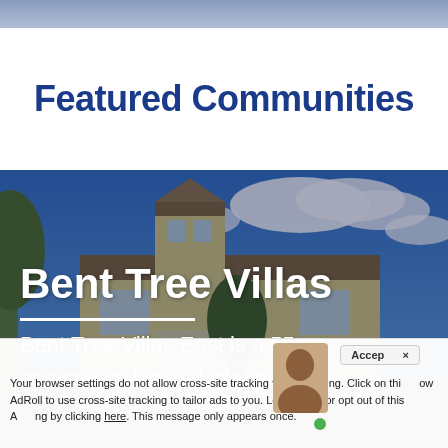Featured Communities
[Figure (photo): Exterior photo of Bent Tree Villas community building — a large two-story yellow house with a tower feature, white columns on the entrance, blue sky with clouds, and trees in the foreground. Text overlay reads 'Bent Tree Villas' and 'Bent Tree Villas East is a 55+ community located in scenic Florida. This fam...']
Your browser settings do not allow cross-site tracking for advertising. Click on this to allow AdRoll to use cross-site tracking to tailor ads to you. Learn more or opt out of this AdRoll tracking by clicking here. This message only appears once.